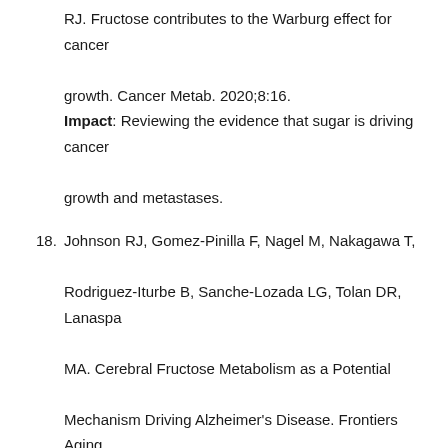RJ. Fructose contributes to the Warburg effect for cancer growth. Cancer Metab. 2020;8:16. Impact: Reviewing the evidence that sugar is driving cancer growth and metastases.
18. Johnson RJ, Gomez-Pinilla F, Nagel M, Nakagawa T, Rodriguez-Iturbe B, Sanche-Lozada LG, Tolan DR, Lanaspa MA. Cerebral Fructose Metabolism as a Potential Mechanism Driving Alzheimer's Disease. Frontiers Aging Neuroscience. Front Aging Neurosci. 2020;12:560865. Impact: Reviewing the evidence that fructose is driving Alzheimer's disease.
19. Andres-Hernando A, Jensen TJ, Kuwabara M, Orlicky D,